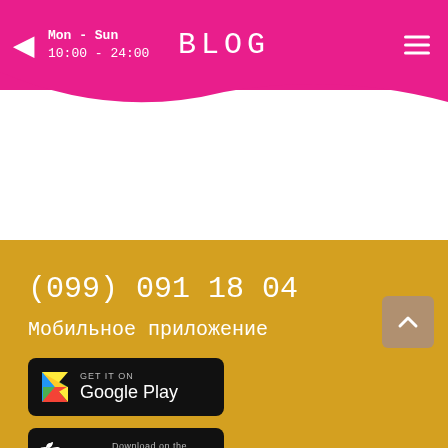Mon - Sun 10:00 - 24:00 | BLOG
(099) 091 18 04
Мобильное приложение
[Figure (screenshot): Google Play store badge button with Google Play logo on black background]
[Figure (screenshot): App Store download badge button with Apple logo on black background]